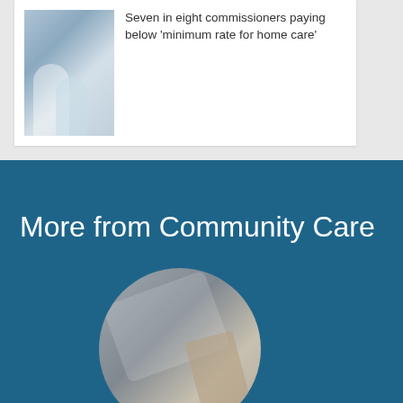[Figure (photo): Photo of an elderly man with a younger female caregiver looking at something together]
Seven in eight commissioners paying below 'minimum rate for home care'
More from Community Care
[Figure (photo): Circular cropped photo of a person holding a smartphone or tablet device]